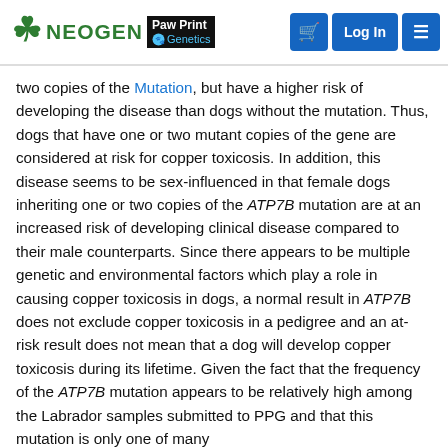NEOGEN Paw Print Genetics — navigation header with cart, Log In, and menu buttons
two copies of the Mutation, but have a higher risk of developing the disease than dogs without the mutation. Thus, dogs that have one or two mutant copies of the gene are considered at risk for copper toxicosis. In addition, this disease seems to be sex-influenced in that female dogs inheriting one or two copies of the ATP7B mutation are at an increased risk of developing clinical disease compared to their male counterparts. Since there appears to be multiple genetic and environmental factors which play a role in causing copper toxicosis in dogs, a normal result in ATP7B does not exclude copper toxicosis in a pedigree and an at-risk result does not mean that a dog will develop copper toxicosis during its lifetime. Given the fact that the frequency of the ATP7B mutation appears to be relatively high among the Labrador samples submitted to PPG and that this mutation is only one of many